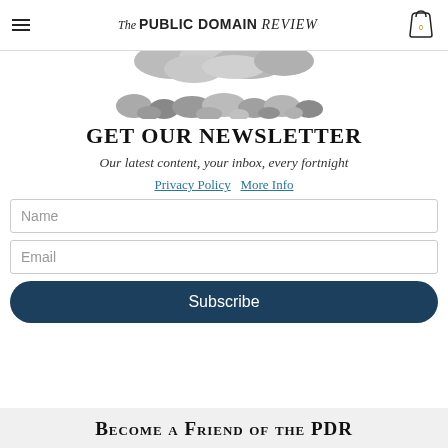The PUBLIC DOMAIN REVIEW
[Figure (illustration): Grayscale illustration of pebbles or stones with foliage, partially cropped at top of page]
GET OUR NEWSLETTER
Our latest content, your inbox, every fortnight
Privacy Policy  More Info
Name
Email
Subscribe
Become a Friend of the PDR